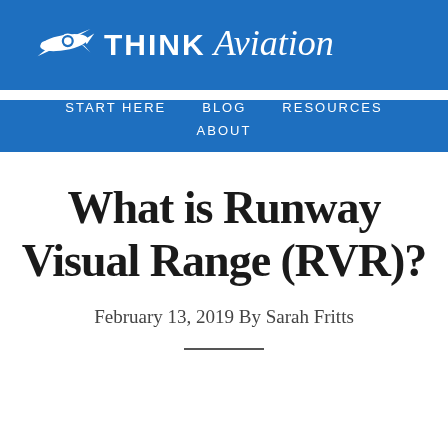[Figure (logo): Think Aviation logo with airplane silhouette and brand name in blue header]
START HERE   BLOG   RESOURCES   ABOUT
What is Runway Visual Range (RVR)?
February 13, 2019 By Sarah Fritts